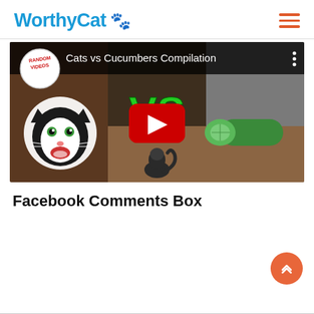[Figure (logo): WorthyCat logo with blue text and blue paw print icon]
[Figure (screenshot): YouTube video thumbnail: Cats vs Cucumbers Compilation — shows a tuxedo cat on the left, VS text in green in the center, a cucumber on the right, with a red YouTube play button in the center and 'RANDOM VIDEOS' badge top left]
Facebook Comments Box
[Figure (other): Orange circular back-to-top button with upward chevron arrows]